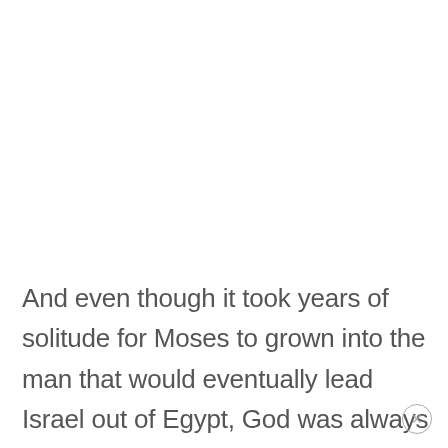And even though it took years of solitude for Moses to grown into the man that would eventually lead Israel out of Egypt, God was always with him. Remember that the night is the darkest, right before sunset.